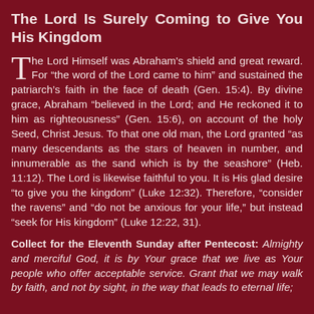The Lord Is Surely Coming to Give You His Kingdom
The Lord Himself was Abraham's shield and great reward. For “the word of the Lord came to him” and sustained the patriarch’s faith in the face of death (Gen. 15:4). By divine grace, Abraham “believed in the Lord; and He reckoned it to him as righteousness” (Gen. 15:6), on account of the holy Seed, Christ Jesus. To that one old man, the Lord granted “as many descendants as the stars of heaven in number, and innumerable as the sand which is by the seashore” (Heb. 11:12). The Lord is likewise faithful to you. It is His glad desire “to give you the kingdom” (Luke 12:32). Therefore, “consider the ravens” and “do not be anxious for your life,” but instead “seek for His kingdom” (Luke 12:22, 31).
Collect for the Eleventh Sunday after Pentecost: Almighty and merciful God, it is by Your grace that we live as Your people who offer acceptable service. Grant that we may walk by faith, and not by sight, in the way that leads to eternal life;